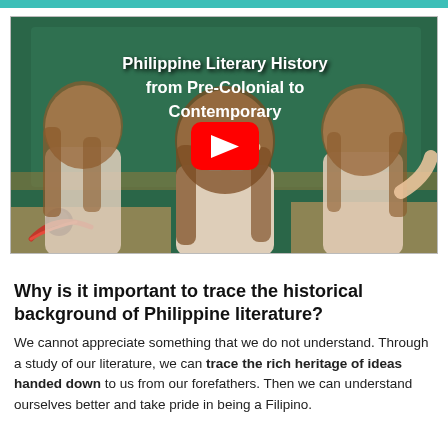[Figure (screenshot): YouTube video thumbnail showing three young women in a classroom setting in front of a green chalkboard. The chalkboard title reads 'Philippine Literary History from Pre-Colonial to Contemporary'. A YouTube play button (red) is overlaid in the center. A quill pen and inkwell are visible on the lower left desk.]
Why is it important to trace the historical background of Philippine literature?
We cannot appreciate something that we do not understand. Through a study of our literature, we can trace the rich heritage of ideas handed down to us from our forefathers. Then we can understand ourselves better and take pride in being a Filipino.